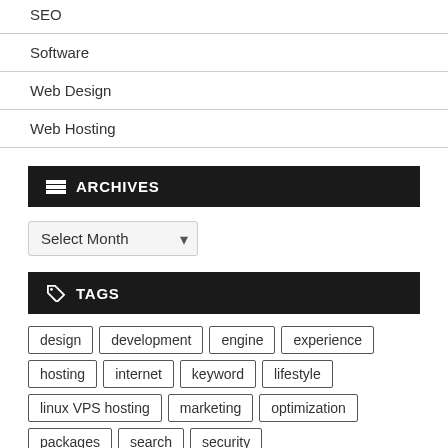SEO
Software
Web Design
Web Hosting
ARCHIVES
Select Month
TAGS
design
development
engine
experience
hosting
internet
keyword
lifestyle
linux VPS hosting
marketing
optimization
packages
search
security